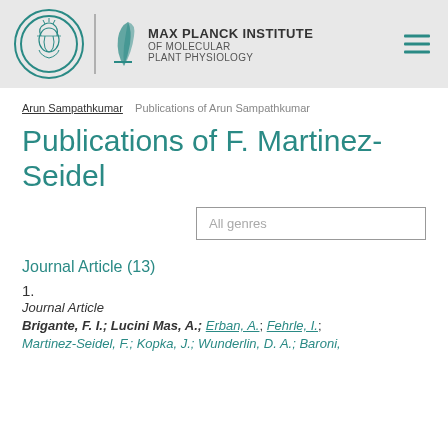MAX PLANCK INSTITUTE OF MOLECULAR PLANT PHYSIOLOGY
Arun Sampathkumar  Publications of Arun Sampathkumar
Publications of F. Martinez-Seidel
All genres
Journal Article (13)
1.
Journal Article
Brigante, F. I.; Lucini Mas, A.; Erban, A.; Fehrle, I.; Martinez-Seidel, F.; Kopka, J.; Wunderlin, D. A.; Baroni,